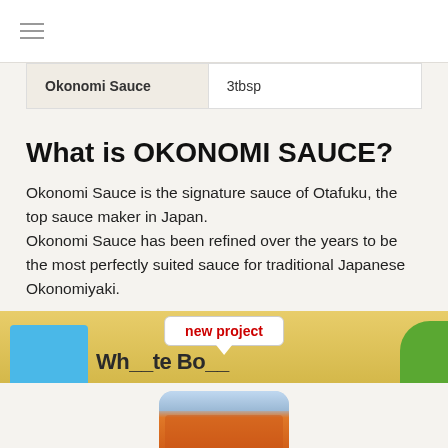| Okonomi Sauce | 3tbsp |
What is OKONOMI SAUCE?
Okonomi Sauce is the signature sauce of Otafuku, the top sauce maker in Japan.
Okonomi Sauce has been refined over the years to be the most perfectly suited sauce for traditional Japanese Okonomiyaki.
[Figure (illustration): Tooltip bubble with text 'new project' in red, over a yellow banner strip with blue box and green element, partial banner text visible]
[Figure (photo): Partial product package image of Okonomi Sauce at bottom of page]